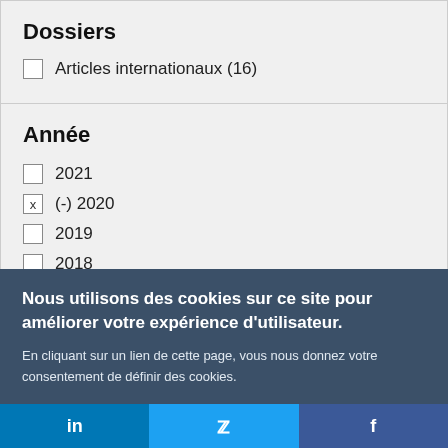Dossiers
Articles internationaux (16)
Année
2021
(-) 2020
2019
2018
2017
Nous utilisons des cookies sur ce site pour améliorer votre expérience d'utilisateur.
En cliquant sur un lien de cette page, vous nous donnez votre consentement de définir des cookies.
in   twitter   f